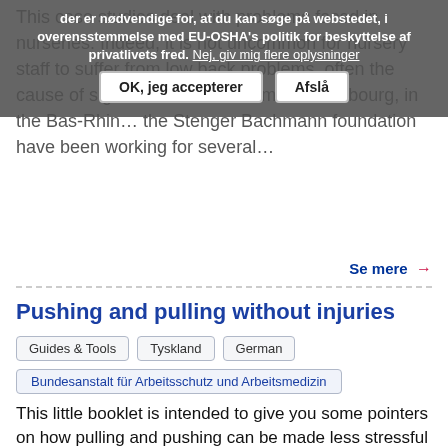This case studies deal with problems faced in nurseries. Indeed, it is not uncommon for nursery staff to suffer from low back problems, often the cause of significant absenteeism. In Strasbourg, in the Bas-Rhin ... the Stenger Bachmann foundation have been working for several...
Cookie overlay: der er nødvendige for, at du kan søge på webstedet, i overensstemmelse med EU-OSHA's politik for beskyttelse af privatlivets fred. Nej, giv mig flere oplysninger | OK, jeg accepterer | Afslå
Se mere →
Pushing and pulling without injuries
Guides & Tools | Tyskland | German | Bundesanstalt für Arbeitsschutz und Arbeitsmedizin
This little booklet is intended to give you some pointers on how pulling and pushing can be made less stressful and more secure. This information is not specific for one sector, it's principles and key